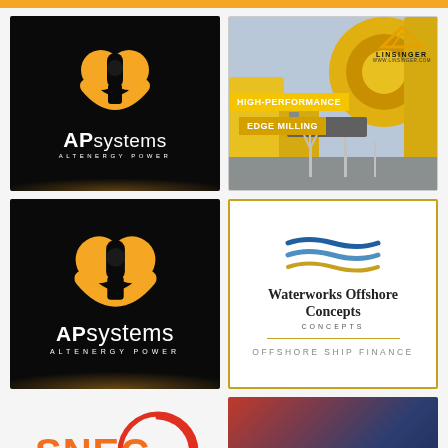[Figure (logo): APsystems – Altenergy Power logo on dark background with orange circular icon and golden sparkle effect]
[Figure (photo): Linsinger advertisement: high-performance edge milling machinery with yellow industrial pipes, wind turbines in background, and Linsinger logo top right]
[Figure (logo): APsystems – Altenergy Power logo (repeated) on dark background with orange circular icon and golden sparkle effect]
[Figure (logo): Waterworks Offshore Concepts – Offshore Ship Finance logo with wavy blue/gold stripes on white background with gold border]
[Figure (logo): SNEC PV Power Expo logo in orange and red with circular arrow graphic]
[Figure (photo): Aviation service advertisement with dark red/blue gradient background and bold white text reading 'Aviation service']